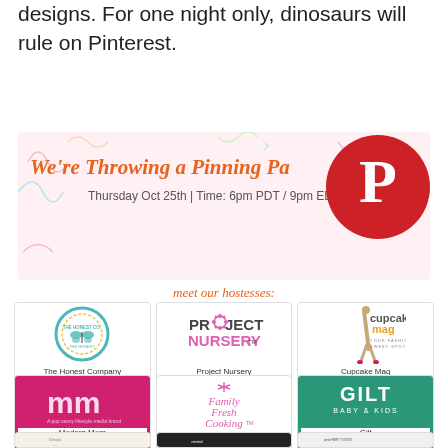designs. For one night only, dinosaurs will rule on Pinterest.
[Figure (infographic): Pinterest pinning party banner: orange italic text 'We're Throwing a Pinning Party', subtext 'Thursday Oct 25th | Time: 6pm PDT / 9pm EDT', with Pinterest logo circle on right, decorative colorful doodles on background]
meet our hostesses:
[Figure (logo): The Honest Company logo - circular teal badge with butterfly]
The Honest Company
[Figure (logo): Project Nursery logo - colorful text with flower/snowflake icon]
Project Nursery
[Figure (logo): Cupcake Mag logo with fashion illustration]
Cupcake Mag
[Figure (logo): Modern Mom logo - pink background with MM letters]
Modern Mom
[Figure (logo): Family Fresh Cooking logo - pink script text with snowflake]
Family Fresh Cooking
[Figure (logo): Gilt Baby & Kids logo - teal background with white text]
Gilt
[Figure (logo): Blissful logo - partial view at bottom]
[Figure (logo): Minted logo - partial view at bottom]
[Figure (logo): Petite Party Studio logo - partial view at bottom]